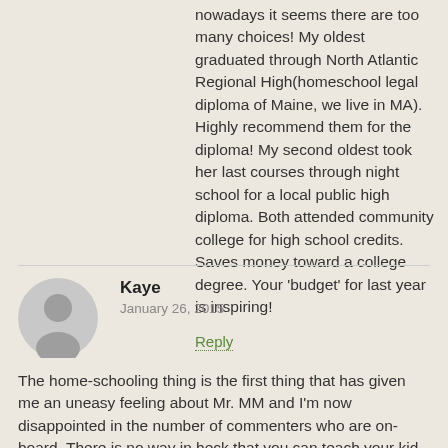nowadays it seems there are too many choices! My oldest graduated through North Atlantic Regional High(homeschool legal diploma of Maine, we live in MA). Highly recommend them for the diploma! My second oldest took her last courses through night school for a local public high diploma. Both attended community college for high school credits. Saves money toward a college degree. Your 'budget' for last year is inspiring!
Reply
Kaye
January 26, 2015
The home-schooling thing is the first thing that has given me an uneasy feeling about Mr. MM and I'm now disappointed in the number of commenters who are on-board. There is no way in heck that you can teach your kid appropriately in english, social sciences, AND math / science (unless perhaps you are already an educator and then I still doubt it, because you are not going to be able to keep up with a college-prep high-school curriculum). This doesn't even take into account socialization and learning HOW TO DEAL WITH OTHER PEOPLE and their it...